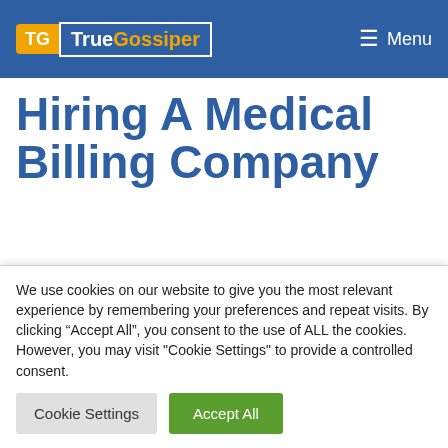TrueGossiper | Menu
Hiring A Medical Billing Company
Table of Contents
Medical billing specialists can save a lot of time
We use cookies on our website to give you the most relevant experience by remembering your preferences and repeat visits. By clicking “Accept All”, you consent to the use of ALL the cookies. However, you may visit "Cookie Settings" to provide a controlled consent.
Cookie Settings | Accept All